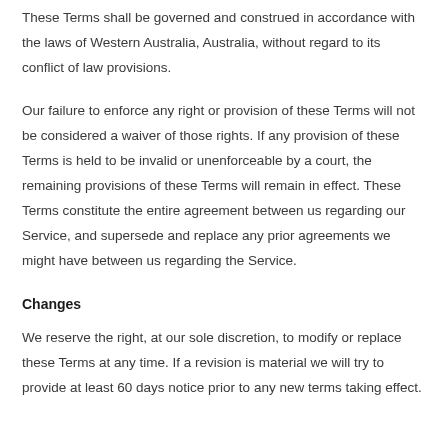These Terms shall be governed and construed in accordance with the laws of Western Australia, Australia, without regard to its conflict of law provisions.
Our failure to enforce any right or provision of these Terms will not be considered a waiver of those rights. If any provision of these Terms is held to be invalid or unenforceable by a court, the remaining provisions of these Terms will remain in effect. These Terms constitute the entire agreement between us regarding our Service, and supersede and replace any prior agreements we might have between us regarding the Service.
Changes
We reserve the right, at our sole discretion, to modify or replace these Terms at any time. If a revision is material we will try to provide at least 60 days notice prior to any new terms taking effect.